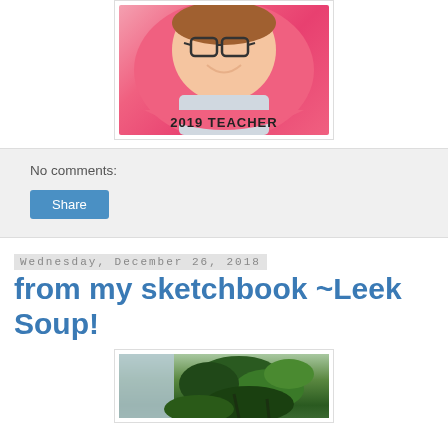[Figure (photo): Photo of a smiling woman with glasses in a pink circular frame reading '2019 TEACHER']
No comments:
Share
Wednesday, December 26, 2018
from my sketchbook ~Leek Soup!
[Figure (photo): Photo of green leafy plants near a window]